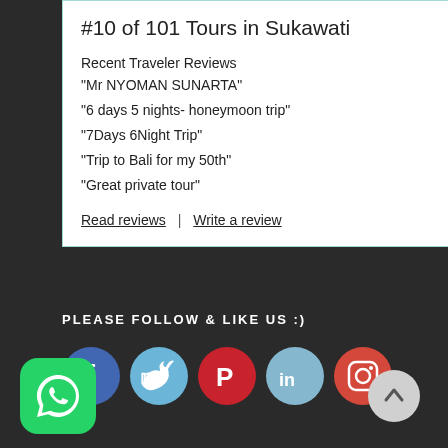#10 of 101 Tours in Sukawati
Recent Traveler Reviews
“Mr NYOMAN SUNARTA”
“6 days 5 nights- honeymoon trip”
“7Days 6Night Trip”
“Trip to Bali for my 50th”
“Great private tour”
Read reviews | Write a review
PLEASE FOLLOW & LIKE US :)
[Figure (infographic): Social media icons: Facebook, Twitter, Pinterest, LinkedIn, Instagram]
[Figure (logo): WhatsApp button icon]
[Figure (other): Scroll to top button with upward arrow]